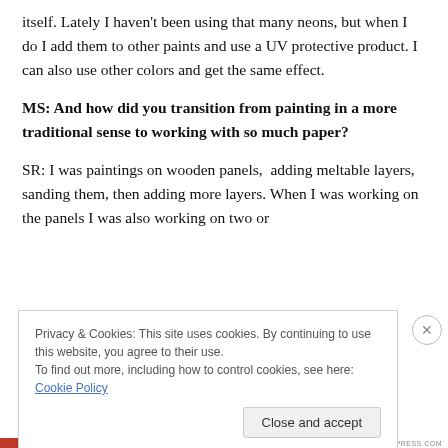itself. Lately I haven't been using that many neons, but when I do I add them to other paints and use a UV protective product. I can also use other colors and get the same effect.
MS: And how did you transition from painting in a more traditional sense to working with so much paper?
SR: I was paintings on wooden panels,  adding meltable layers, sanding them, then adding more layers. When I was working on the panels I was also working on two or
Privacy & Cookies: This site uses cookies. By continuing to use this website, you agree to their use.
To find out more, including how to control cookies, see here: Cookie Policy
Close and accept